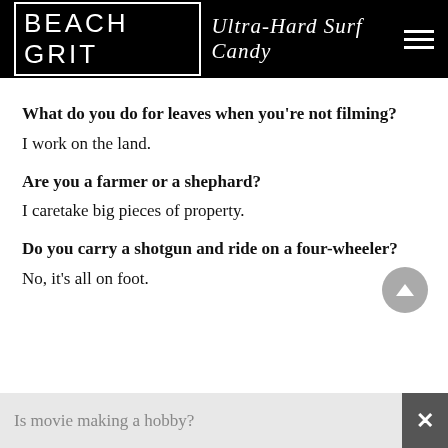BEACH GRIT Ultra-Hard Surf Candy
What do you do for leaves when you're not filming?
I work on the land.
Are you a farmer or a shephard?
I caretake big pieces of property.
Do you carry a shotgun and ride on a four-wheeler?
No, it's all on foot.
Is movie making a hobby?